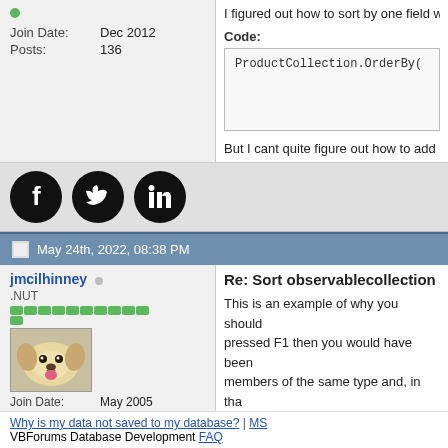Join Date: Dec 2012
Posts: 136
I figured out how to sort by one field w...
Code:
ProductCollection.OrderBy(
But I cant quite figure out how to add
[Figure (logo): Social media icons: Facebook, Twitter, LinkedIn in black circles]
May 24th, 2022, 08:38 PM
jmcilhinney
.NUT
Join Date: May 2005
Location: Sydney, Australia
Posts: 108,710
Re: Sort observablecollection by
This is an example of why you should... pressed F1 then you would have been... members of the same type and, in tha...
Why is my data not saved to my database? | MS... VBForums Database Development FAQ